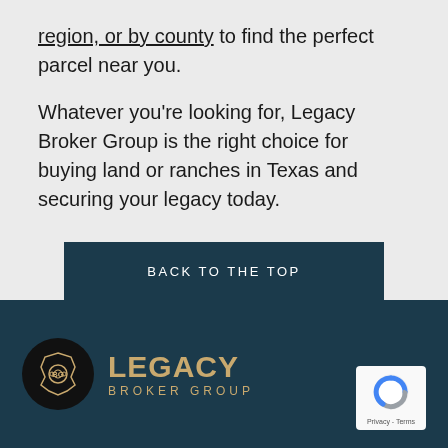region, or by county to find the perfect parcel near you.
Whatever you're looking for, Legacy Broker Group is the right choice for buying land or ranches in Texas and securing your legacy today.
BACK TO THE TOP
[Figure (logo): Legacy Broker Group logo with circular black badge and gold text on dark teal footer background]
[Figure (other): Google reCAPTCHA badge with Privacy and Terms links]